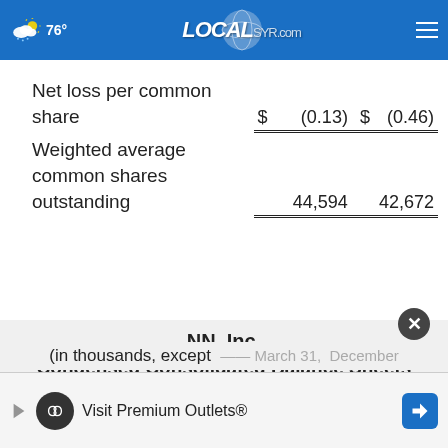LOCALsyr.com — 76°
|  |  |  |
| --- | --- | --- |
| Net loss per common share | $   (0.13) | $   (0.46) |
| Weighted average common shares outstanding | 44,594 | 42,672 |
NN, Inc.
Condensed Consolidated Balance Sheets
(Unaudited)
(in thousands, except per share data) March 31, December